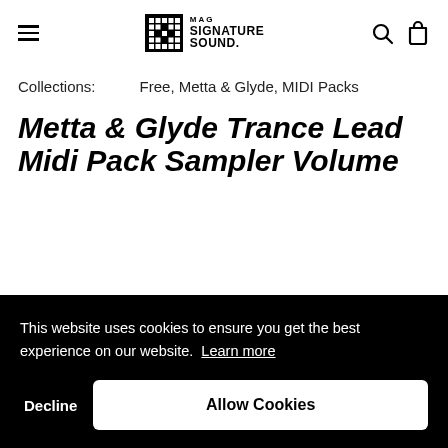MAG SIGNATURE SOUND. [logo] [hamburger] [search] [cart]
Collections:   Free, Metta & Glyde, MIDI Packs
Metta & Glyde Trance Lead Midi Pack Sampler Volume
This website uses cookies to ensure you get the best experience on our website. Learn more
Decline   Allow Cookies